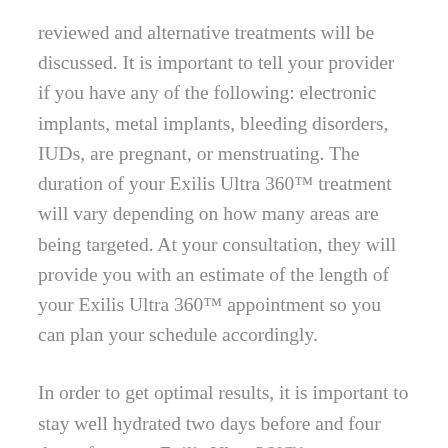reviewed and alternative treatments will be discussed. It is important to tell your provider if you have any of the following: electronic implants, metal implants, bleeding disorders, IUDs, are pregnant, or menstruating. The duration of your Exilis Ultra 360™ treatment will vary depending on how many areas are being targeted. At your consultation, they will provide you with an estimate of the length of your Exilis Ultra 360™ appointment so you can plan your schedule accordingly.
In order to get optimal results, it is important to stay well hydrated two days before and four days after your Exilis Ultra 360™ treatment.  The day of your appointment we ask that you cleanse the skin thoroughly, shave areas with excess hair, and avoid applying lotion to the area of treatment. They will also ask that you remove any metal jewelry, watches, or clothes as it can interfere with the